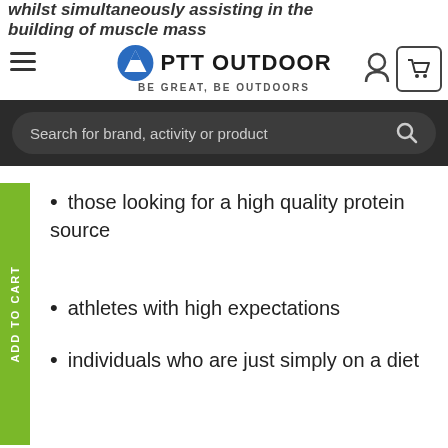PTT OUTDOOR — BE GREAT, BE OUTDOORS
Search for brand, activity or product
those looking for a high quality protein source
athletes with high expectations
individuals who are just simply on a diet
Overview:
21g high-quality protein
Extra L-Glutamine added